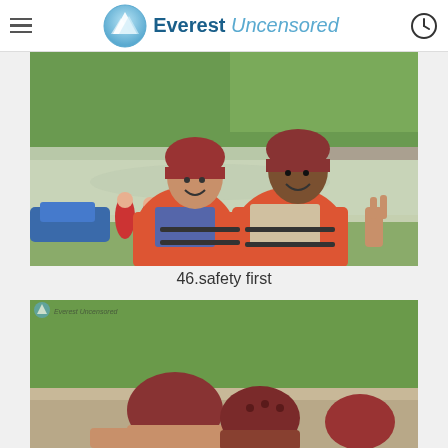Everest Uncensored
[Figure (photo): Two young women wearing red/orange life jackets and dark red helmets smiling near a river, with rafting equipment and other people in the background. One woman is making a peace sign with her hand.]
46.safety first
[Figure (photo): Partial view of people wearing dark red helmets near a riverbank with green trees in the background. An Everest Uncensored watermark is visible in the top left corner.]